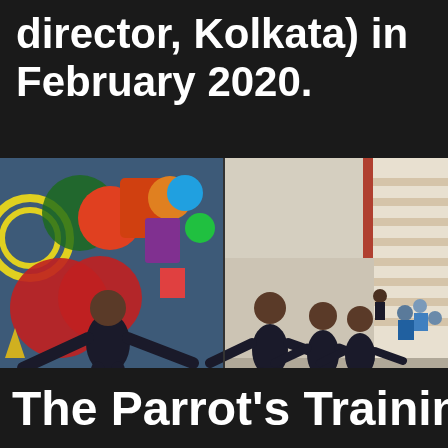director, Kolkata) in February 2020.
[Figure (photo): Two side-by-side photos: left shows a man in black clothing leaning forward with arms spread against a colorful graffiti wall mural; right shows multiple performers in black clothing in dynamic movement poses in a courtyard with stairs and spectators watching.]
The Parrot's Training i